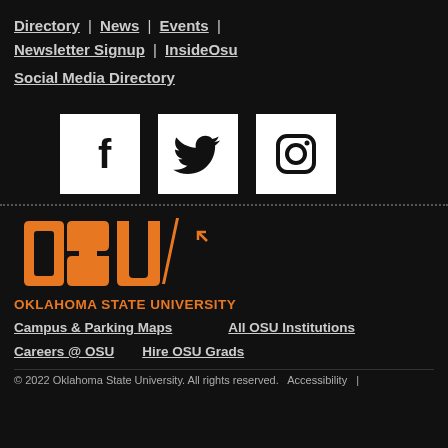Directory | News | Events | Newsletter Signup | InsideOsu
Social Media Directory
[Figure (logo): Facebook logo icon (white square with black F)]
[Figure (logo): Twitter logo icon (white square with black bird)]
[Figure (logo): Instagram logo icon (white square with black camera)]
[Figure (logo): OSU brand logo in orange with arrow]
OKLAHOMA STATE UNIVERSITY
Campus & Parking Maps    All OSU Institutions
Careers @ OSU    Hire OSU Grads
© 2022 Oklahoma State University. All rights reserved.  Accessibility  |